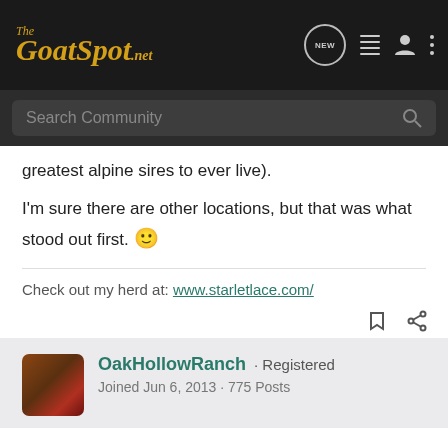The GoatSpot.net - navigation bar with search
greatest alpine sires to ever live).
I'm sure there are other locations, but that was what stood out first. 🙂
Check out my herd at: www.starletlace.com/
OakHollowRanch · Registered
Joined Jun 6, 2013 · 775 Posts